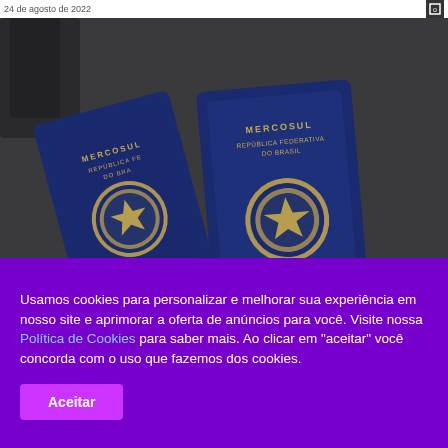24 de agosto de 2022
[Figure (photo): Two dark blue Brazilian MERCOSUL passports (República Federativa do Brasil) with golden coat of arms, resting on a dark surface with a bag in the background.]
Usamos cookies para personalizar e melhorar sua experiência em nosso site e aprimorar a oferta de anúncios para você. Visite nossa Política de Cookies para saber mais. Ao clicar em "aceitar" você concorda com o uso que fazemos dos cookies.
Aceitar